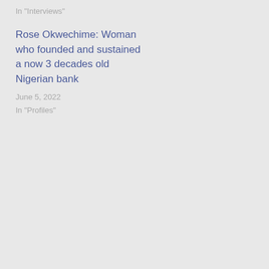In "Interviews"
Rose Okwechime: Woman who founded and sustained a now 3 decades old Nigerian bank
June 5, 2022
In "Profiles"